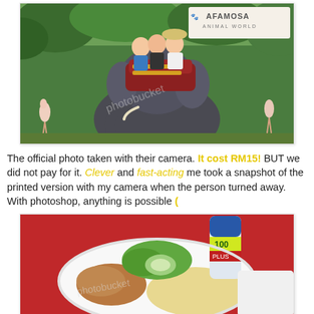[Figure (photo): Three people riding an elephant at A Famosa Animal World, with lush greenery in the background and flamingos visible on the left.]
The official photo taken with their camera. It cost RM15! BUT we did not pay for it. Clever and fast-acting me took a snapshot of the printed version with my camera when the person turned away. With photoshop, anything is possible (:
[Figure (photo): A plate of chicken rice with a can of 100 Plus drink, served on a white plate with lettuce and cucumber garnish.]
Lunch was a packet of Chicken Rice and a can of 100 plus.
[Figure (photo): Partial photo at the bottom showing an outdoor scene with a person visible.]